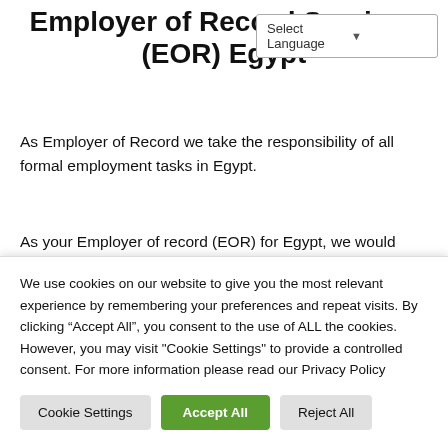Employer of Record Services (EOR) Egypt
As Employer of Record we take the responsibility of all formal employment tasks in Egypt.
As your Employer of record (EOR) for Egypt, we would assume the legal responsibilities of employing your employees to decrease complexities and risks associated with HR functions, Payroll
We use cookies on our website to give you the most relevant experience by remembering your preferences and repeat visits. By clicking “Accept All”, you consent to the use of ALL the cookies. However, you may visit "Cookie Settings" to provide a controlled consent. For more information please read our Privacy Policy